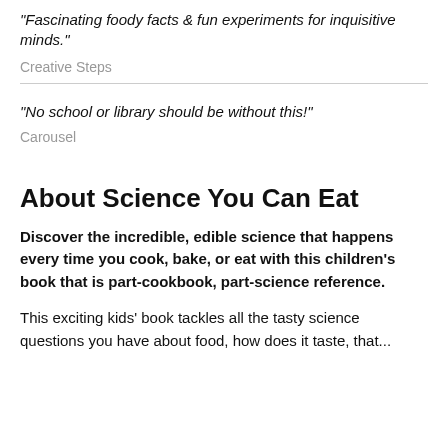"Fascinating foody facts & fun experiments for inquisitive minds."
Creative Steps
"No school or library should be without this!"
Carousel
About Science You Can Eat
Discover the incredible, edible science that happens every time you cook, bake, or eat with this children's book that is part-cookbook, part-science reference.
This exciting kids' book tackles all the tasty science questions you have about food, how does it taste, that...